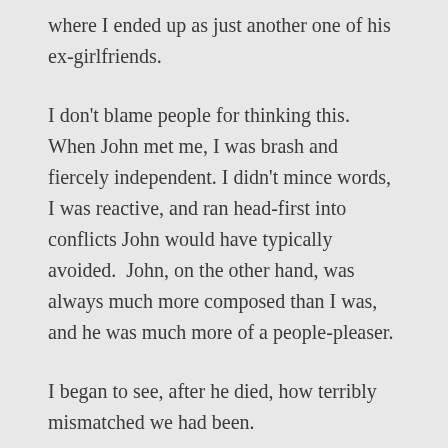where I ended up as just another one of his ex-girlfriends.
I don't blame people for thinking this. When John met me, I was brash and fiercely independent. I didn't mince words, I was reactive, and ran head-first into conflicts John would have typically avoided.  John, on the other hand, was always much more composed than I was, and he was much more of a people-pleaser.
I began to see, after he died, how terribly mismatched we had been.